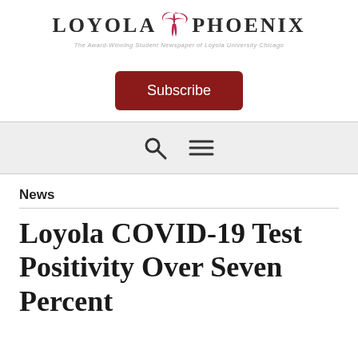[Figure (logo): Loyola Phoenix newspaper logo with bird/phoenix graphic between LOYOLA and PHOENIX text, and tagline 'The Award-Winning Student Newspaper of Loyola University Chicago']
Subscribe
[Figure (other): Navigation bar with search icon and hamburger menu icon]
News
Loyola COVID-19 Test Positivity Over Seven Percent